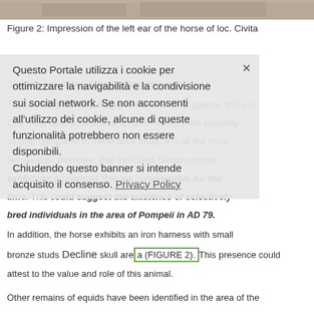[Figure (photo): Top portion of a photograph showing a horse's left ear impression, cropped at the top of the page.]
Figure 2: Impression of the left ear of the horse of loc. Civita Giuliana with detail of the iron and bronze harness.
The animal displays a height at the withers of approx. 150 cm. One must bear in mind that ancient horses were probably smaller compared to these alive today. It is all the more remarkable, therefore, that the Civita Giuliana horse exhibits proportions that are considerable for the time. This could suggest the existence of selectively bred individuals in the area of Pompeii in AD 79.
[Figure (other): Cookie consent overlay popup with Italian text: 'Questo Portale utilizza i cookie per ottimizzare la navigabilità e la condivisione sui social network. Se non acconsenti all'utilizzo dei cookie, alcune di queste funzionalità potrebbero non essere disponibili. Chiudendo questo banner si intende acquisito il consenso. Privacy Policy' and a Decline button.]
In addition, the horse exhibits an iron harness with small bronze studs in the skull area (FIGURE 2). This presence could attest to the value and role of this animal.
Other remains of equids have been identified in the area of the